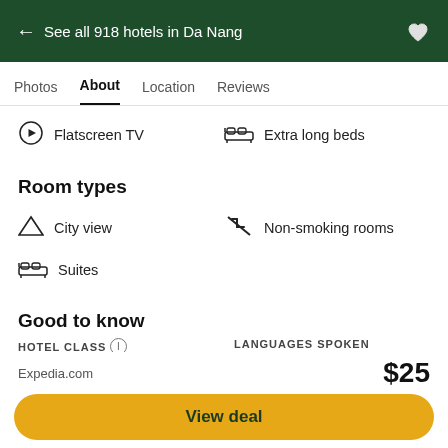← See all 918 hotels in Da Nang
Photos  About  Location  Reviews
Flatscreen TV
Extra long beds
Room types
City view
Non-smoking rooms
Suites
Good to know
HOTEL CLASS
LANGUAGES SPOKEN
Expedia.com   $25   View deal